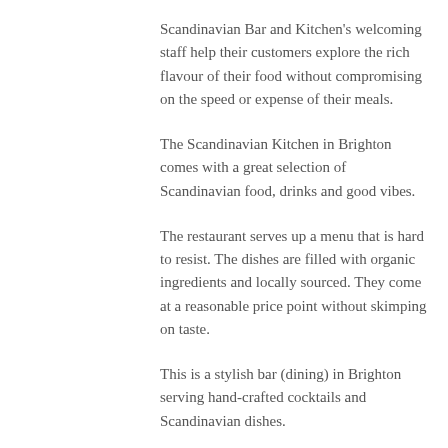Scandinavian Bar and Kitchen's welcoming staff help their customers explore the rich flavour of their food without compromising on the speed or expense of their meals.
The Scandinavian Kitchen in Brighton comes with a great selection of Scandinavian food, drinks and good vibes.
The restaurant serves up a menu that is hard to resist. The dishes are filled with organic ingredients and locally sourced. They come at a reasonable price point without skimping on taste.
This is a stylish bar (dining) in Brighton serving hand-crafted cocktails and Scandinavian dishes.